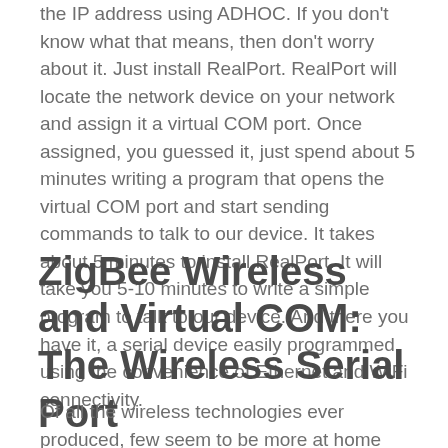the IP address using ADHOC. If you don't know what that means, then don't worry about it. Just install RealPort. RealPort will locate the network device on your network and assign it a virtual COM port. Once assigned, you guessed it, just spend about 5 minutes writing a program that opens the virtual COM port and start sending commands to talk to our device. It takes about 5 minutes to install RealPort. It will take you 5-10 minutes to write a simple program to talk to our device. And there you have it, a serial device easily programmed using the convenience of Ethernet and WiFi connectivity.
ZigBee Wireless and Virtual COM: The Wireless Serial Port
Of all the wireless technologies ever produced, few seem to be more at home with serial communications than the